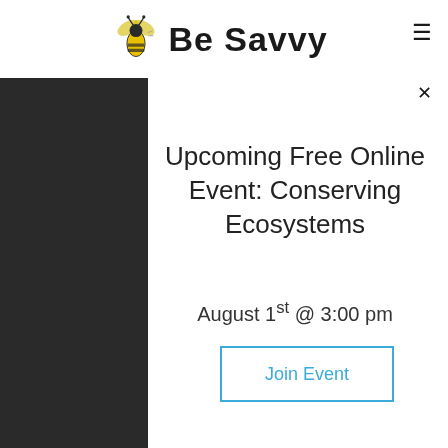Be Savvy
Upcoming Free Online Event: Conserving Ecosystems
August 1st @ 3:00 pm
Join Event